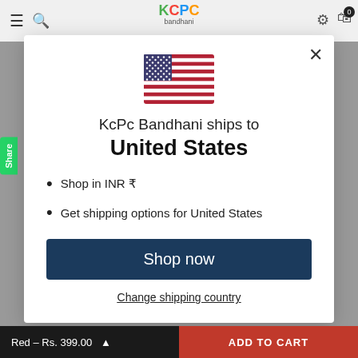KCPC Bandhani
[Figure (illustration): US flag emoji/icon centered at top of modal]
KcPc Bandhani ships to United States
Shop in INR ₹
Get shipping options for United States
Shop now
Change shipping country
Red – Rs. 399.00   ADD TO CART